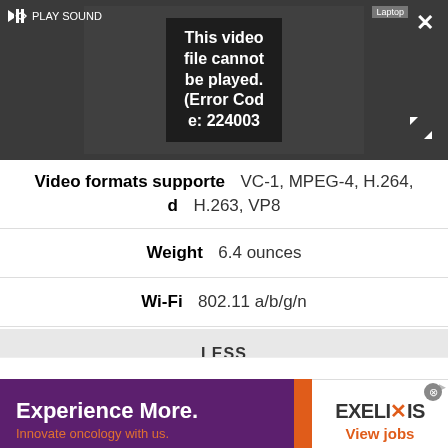[Figure (screenshot): Video player showing error message 'This video file cannot be played. (Error Code: 224003)' with play sound button, close button, expand button, and laptop label visible]
| Video formats supported | VC-1, MPEG-4, H.264, H.263, VP8 |
| Weight | 6.4 ounces |
| Wi-Fi | 802.11 a/b/g/n |
LESS
[Figure (screenshot): Advertisement banner: 'Experience More. Innovate oncology with us.' on purple background with EXELIXIS logo and 'View jobs' call to action on white background]